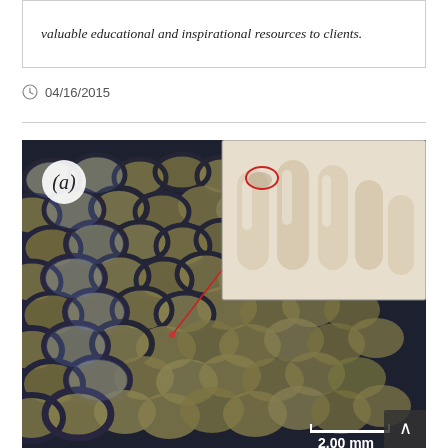valuable educational and inspirational resources to clients.
04/16/2015
[Figure (photo): Close-up photograph of fish scales (labeled 'a') with an inset showing a finger touching the scales. A scale bar reads '2.00 mm' at the bottom right.]